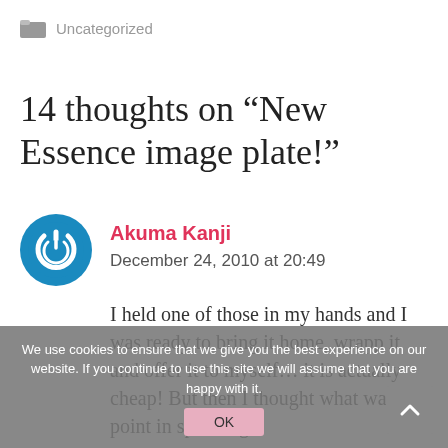Uncategorized
14 thoughts on “New Essence image plate!”
Akuma Kanji
December 24, 2010 at 20:49
I held one of those in my hands and I was ready to bring it home, wrapp it and offer it to myself… it is actually cheap! But then I thought what was the point in spending
We use cookies to ensure that we give you the best experience on our website. If you continue to use this site we will assume that you are happy with it.
OK